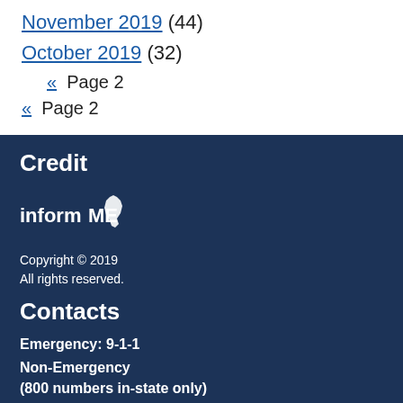November 2019 (44)
October 2019 (32)
« Page 2
« Page 2
Credit
[Figure (logo): informME logo with white text and Maine state shape icon]
Copyright © 2019
All rights reserved.
Contacts
Emergency: 9-1-1
Non-Emergency
(800 numbers in-state only)
Augusta: (207) 624-7076